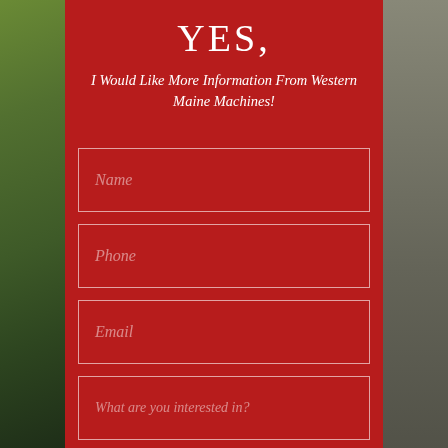YES,
I Would Like More Information From Western Maine Machines!
[Figure (other): Contact form with fields for Name, Phone, Email, What are you interested in?, and a Send button on a dark red background over an aerial photo of a town.]